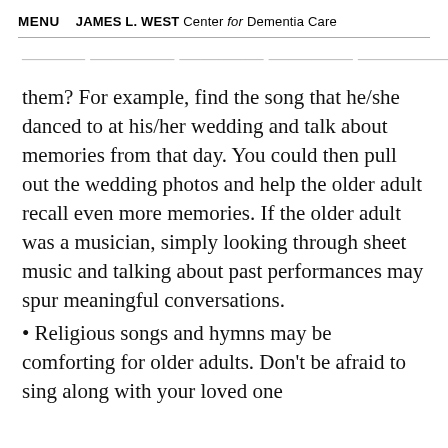MENU   JAMES L. WEST Center for Dementia Care
them? For example, find the song that he/she danced to at his/her wedding and talk about memories from that day. You could then pull out the wedding photos and help the older adult recall even more memories. If the older adult was a musician, simply looking through sheet music and talking about past performances may spur meaningful conversations.
• Religious songs and hymns may be comforting for older adults. Don't be afraid to sing along with your loved one